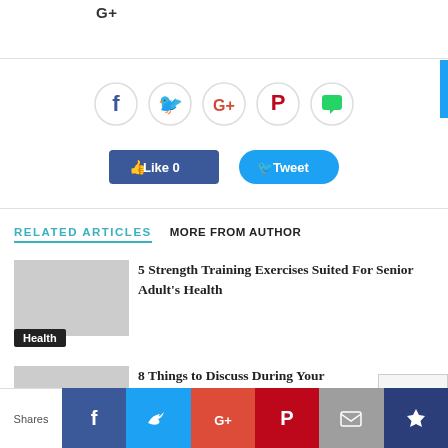G+
[Figure (infographic): Row of social share icon circles: Facebook (f), Twitter (bird), Google+ (G+), Pinterest (P), WhatsApp (chat bubble)]
[Figure (infographic): Facebook Like button showing count 0, and Twitter Tweet button]
RELATED ARTICLES
MORE FROM AUTHOR
5 Strength Training Exercises Suited For Senior Adult's Health
Health
8 Things to Discuss During Your Doctor's Visit
[Figure (infographic): Bottom social share bar with icons for Facebook, Twitter, Google+, Pinterest, Mail, Crown. Left label says Shares.]